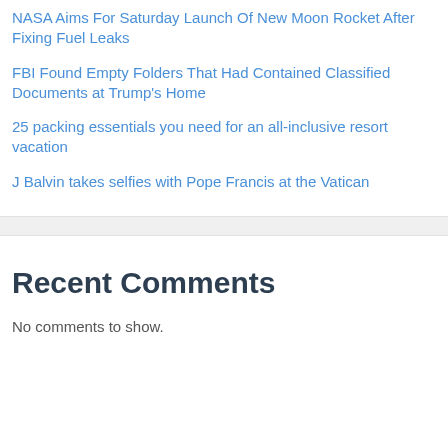NASA Aims For Saturday Launch Of New Moon Rocket After Fixing Fuel Leaks
FBI Found Empty Folders That Had Contained Classified Documents at Trump's Home
25 packing essentials you need for an all-inclusive resort vacation
J Balvin takes selfies with Pope Francis at the Vatican
Recent Comments
No comments to show.